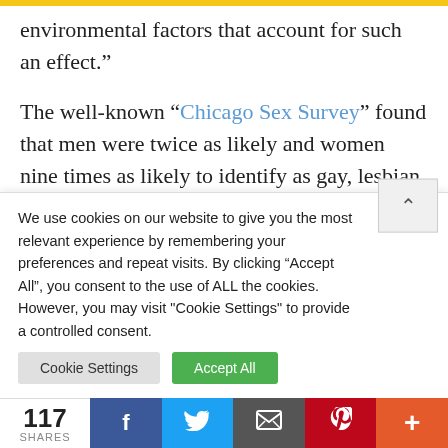environmental factors that account for such an effect."
The well-known “Chicago Sex Survey” found that men were twice as likely and women nine times as likely to identify as gay, lesbian, or bisexual if they had completed college.
Researchers in New Zealand noted a correlation b…
We use cookies on our website to give you the most relevant experience by remembering your preferences and repeat visits. By clicking “Accept All”, you consent to the use of ALL the cookies. However, you may visit “Cookie Settings” to provide a controlled consent.
117 SHARES | Facebook | Twitter | Email | Pinterest | More